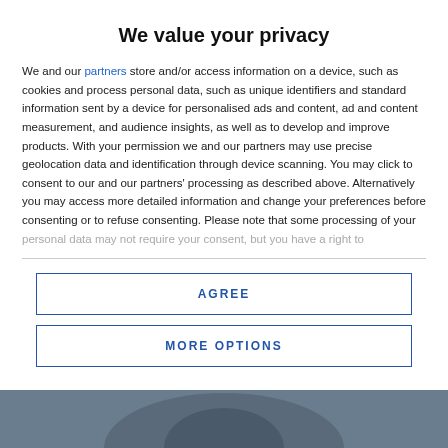We value your privacy
We and our partners store and/or access information on a device, such as cookies and process personal data, such as unique identifiers and standard information sent by a device for personalised ads and content, ad and content measurement, and audience insights, as well as to develop and improve products. With your permission we and our partners may use precise geolocation data and identification through device scanning. You may click to consent to our and our partners' processing as described above. Alternatively you may access more detailed information and change your preferences before consenting or to refuse consenting. Please note that some processing of your personal data may not require your consent, but you have a right to
AGREE
MORE OPTIONS
[Figure (photo): Background photo of a person, partially visible at the bottom of the page]